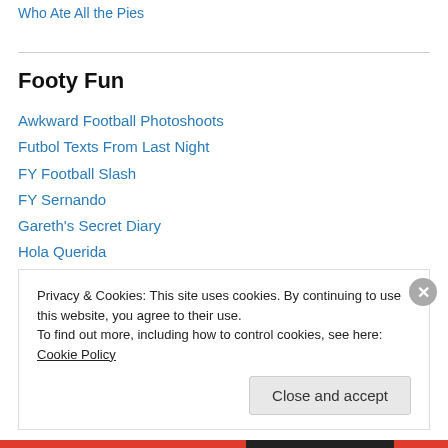Who Ate All the Pies
Footy Fun
Awkward Football Photoshoots
Futbol Texts From Last Night
FY Football Slash
FY Sernando
Gareth's Secret Diary
Hola Querida
ONTD_Football
The Illustrated Ray Hudson
Privacy & Cookies: This site uses cookies. By continuing to use this website, you agree to their use. To find out more, including how to control cookies, see here: Cookie Policy
Close and accept